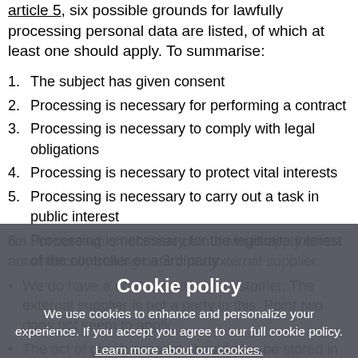article 5, six possible grounds for lawfully processing personal data are listed, of which at least one should apply. To summarise:
1. The subject has given consent
2. Processing is necessary for performing a contract
3. Processing is necessary to comply with legal obligations
4. Processing is necessary to protect vital interests
5. Processing is necessary to carry out a task in public interest
6. Processing is necessary for the legitimite interest of the controller or a 3rd party
I'm not sure which of these points would apply when automatically storing data of an external supplier.
We do have a contract with the customer. The external supplier is not a party in this. Point two does not seem to apply.
The act of giving consent should also be stored in a way that can be reproduced.
Checking if any of these points apply seems difficult if the personal data has already been automatically stored. The
[Figure (infographic): Cookie policy overlay dialog with dark semi-transparent background. Title: 'Cookie policy'. Body text: 'We use cookies to enhance and personalize your experience. If you accept you agree to our full cookie policy. Learn more about our cookies.' Two buttons: 'ACCEPT COOKIES' (dark) and 'DENY ALL' (white). Link below: 'Cookie settings'.]